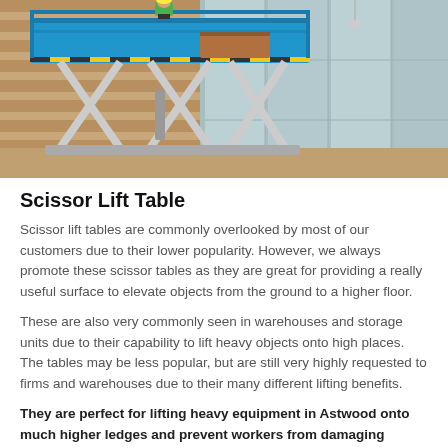[Figure (photo): A blue scissor lift platform elevated against the glass facade of a modern building. A worker in a yellow high-visibility vest is visible on the platform. The scissor mechanism is visible below the platform.]
Scissor Lift Table
Scissor lift tables are commonly overlooked by most of our customers due to their lower popularity. However, we always promote these scissor tables as they are great for providing a really useful surface to elevate objects from the ground to a higher floor.
These are also very commonly seen in warehouses and storage units due to their capability to lift heavy objects onto high places. The tables may be less popular, but are still very highly requested to firms and warehouses due to their many different lifting benefits.
They are perfect for lifting heavy equipment in Astwood onto much higher ledges and prevent workers from damaging